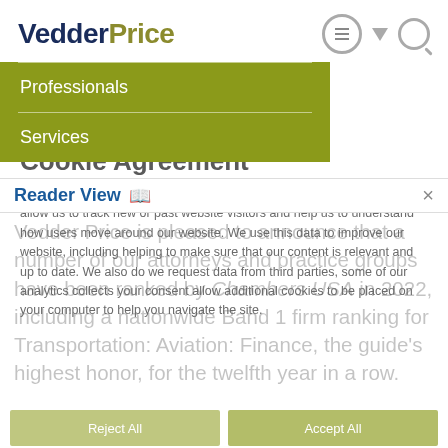VedderPrice
Professionals
Services
Cookie Agreement
This website uses "analytical" cookies and tracking tools. These tools allow us to track new or past website visitors and help us to understand how users move around our website. We use this data to improve our website, including helping to make sure that our content is relevant and up to date. We also do we request data from third parties, some of our analytics collects your consent allow additional cookies to be placed on your computer to help you navigate the site.
Vedder Price is pleased to announce that a number of our attorneys and practice groups have been ranked by Chambers USA in 2022, including a nationwide Band 1 firm ranking for Transportation: Aviation: Finance, the guide’s highest honor, for the twelfth year in a row.